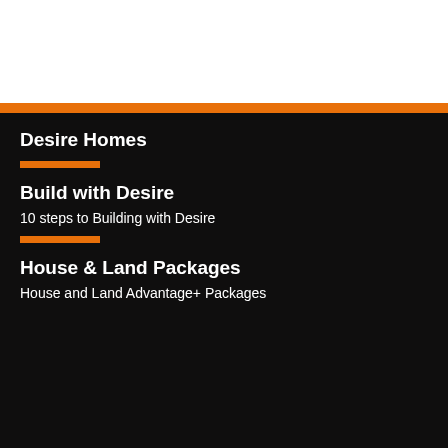[Figure (other): White blank area at top of page]
Desire Homes
Build with Desire
10 steps to Building with Desire
House & Land Packages
House and Land Advantage+ Packages